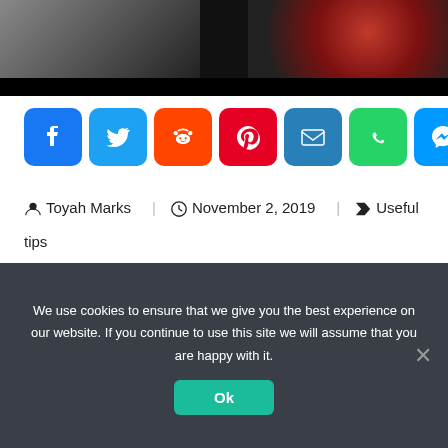[Figure (photo): Partial photo showing a person in black on the left and a red circular/tech graphic on the right, with a black bar at the bottom]
[Figure (infographic): Row of 8 social share buttons: Facebook (blue), Twitter (light blue), Reddit (orange), Pinterest (red), Email (blue), WhatsApp (green), Messenger (blue), Telegram (light blue)]
Toyah Marks   November 2, 2019   Useful tips
[Figure (other): Gray placeholder/advertisement box]
We use cookies to ensure that we give you the best experience on our website. If you continue to use this site we will assume that you are happy with it.
Ok